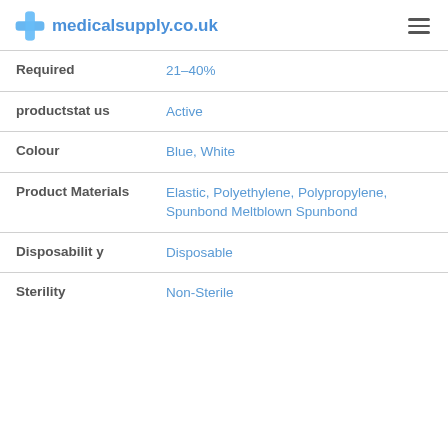medicalsupply.co.uk
| Property | Value |
| --- | --- |
| Required | 21-40% |
| productstatus | Active |
| Colour | Blue, White |
| Product Materials | Elastic, Polyethylene, Polypropylene, Spunbond Meltblown Spunbond |
| Disposability | Disposable |
| Sterility | Non-Sterile |